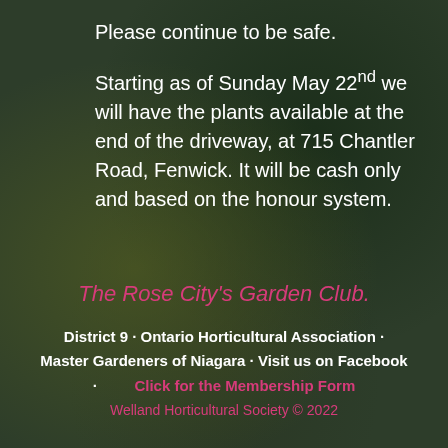Please continue to be safe.
Starting as of Sunday May 22nd we will have the plants available at the end of the driveway, at 715 Chantler Road, Fenwick. It will be cash only and based on the honour system.
The Rose City's Garden Club.
District 9 · Ontario Horticultural Association · Master Gardeners of Niagara · Visit us on Facebook
· Click for the Membership Form
Welland Horticultural Society © 2022